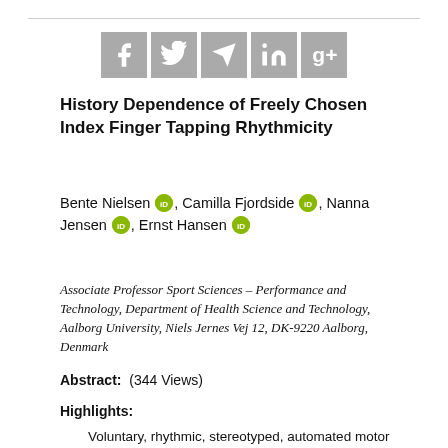[Figure (other): Social media sharing icons: Facebook, Twitter, Telegram, LinkedIn, Google+]
History Dependence of Freely Chosen Index Finger Tapping Rhythmicity
Bente Nielsen [iD], Camilla Fjordside [iD], Nanna Jensen [iD], Ernst Hansen [iD]
Associate Professor Sport Sciences – Performance and Technology, Department of Health Science and Technology, Aalborg University, Niels Jernes Vej 12, DK-9220 Aalborg, Denmark
Abstract:   (344 Views)
Highlights:
Voluntary, rhythmic, stereotyped, automated motor activities are basic to humans
Participants did initial submaximal tapping at low